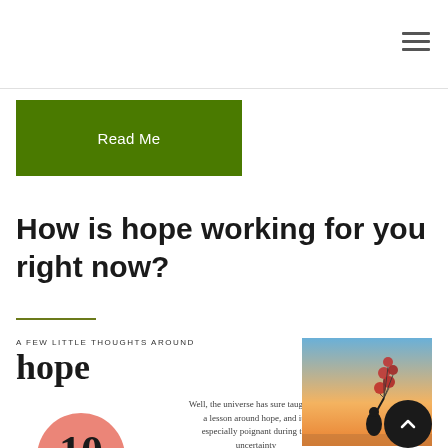[Figure (infographic): Hamburger/menu icon — three horizontal lines stacked]
[Figure (other): Green 'Read Me' button]
How is hope working for you right now?
[Figure (infographic): Preview image of a 'hope' article: text 'A FEW LITTLE THOUGHTS AROUND hope', pink circle with '10 LITTLE RULES', body text 'Well, the universe has sure taught me a lesson around hope, and it's especially poignant during the uncertainty', and a photo of a silhouette holding balloons at sunset]
[Figure (other): Dark circular scroll-to-top button with upward chevron arrow]